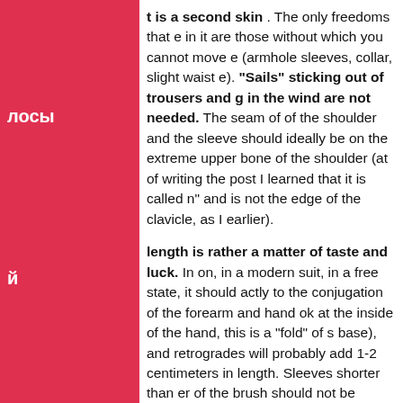t is a second skin. The only freedoms that e in it are those without which you cannot move e (armhole sleeves, collar, slight waist e). "Sails" sticking out of trousers and g in the wind are not needed. The seam of of the shoulder and the sleeve should ideally be on the extreme upper bone of the shoulder (at of writing the post I learned that it is called n" and is not the edge of the clavicle, as I earlier).
length is rather a matter of taste and luck. In on, in a modern suit, in a free state, it should actly to the conjugation of the forearm and hand ok at the inside of the hand, this is a "fold" of s base), and retrogrades will probably add 1-2 centimeters in length. Sleeves shorter than er of the brush should not be chosen, especially